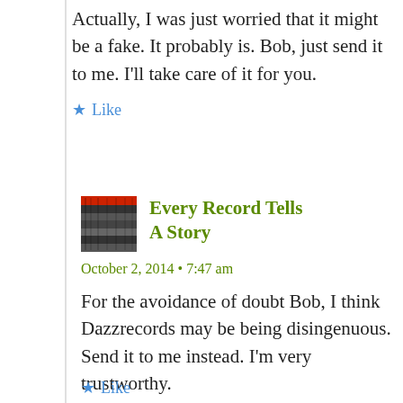Actually, I was just worried that it might be a fake. It probably is. Bob, just send it to me. I'll take care of it for you.
★ Like
[Figure (photo): Small avatar image showing stacked vinyl records]
Every Record Tells A Story
October 2, 2014 • 7:47 am
For the avoidance of doubt Bob, I think Dazzrecords may be being disingenuous. Send it to me instead. I'm very trustworthy. *looks to camera* *rubs hands greedily*
★ Like